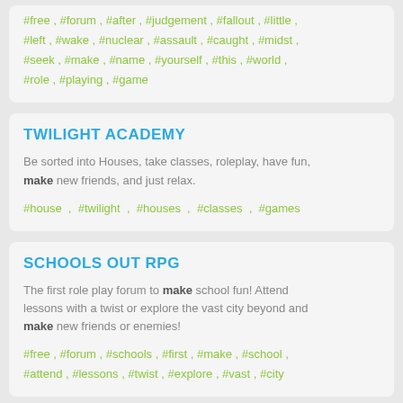#free , #forum , #after , #judgement , #fallout , #little , #left , #wake , #nuclear , #assault , #caught , #midst , #seek , #make , #name , #yourself , #this , #world , #role , #playing , #game
TWILIGHT ACADEMY
Be sorted into Houses, take classes, roleplay, have fun, make new friends, and just relax.
#house , #twilight , #houses , #classes , #games
SCHOOLS OUT RPG
The first role play forum to make school fun! Attend lessons with a twist or explore the vast city beyond and make new friends or enemies!
#free , #forum , #schools , #first , #make , #school , #attend , #lessons , #twist , #explore , #vast , #city